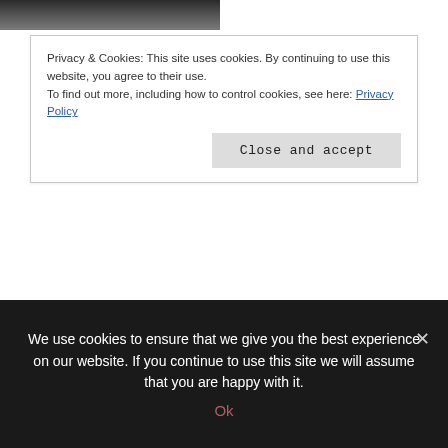[Figure (photo): Partial photo of a person (top of head/hair visible), cropped at top of page]
Privacy & Cookies: This site uses cookies. By continuing to use this website, you agree to their use.
To find out more, including how to control cookies, see here: Privacy Policy
Close and accept
Amber
Hey, y'all! I'm Amber and I wear many hats. I drink a ton of coffee and I'm constantly sweeping crumbs off the floor. After 18 years of homeschooling, I'm getting close to graduating my third child and now we are starting over at preschool with our fourth, Lil Miss Mouse. She keeps us young and she's the main
We use cookies to ensure that we give you the best experience on our website. If you continue to use this site we will assume that you are happy with it.
Ok